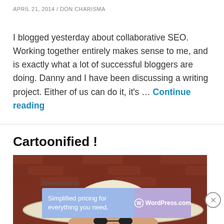APRIL 21, 2014 / DON CHARISMA
I blogged yesterday about collaborative SEO. Working together entirely makes sense to me, and is exactly what a lot of successful bloggers are doing. Danny and I have been discussing a writing project. Either of us can do it, it's … Continue reading
Cartoonified !
[Figure (illustration): Cropped cartoon illustration showing a character wearing a large cream/white cowboy hat against a dark red/brown brick background]
Advertisements
[Figure (screenshot): WordPress.com advertisement banner: 'Simplified pricing for everything you need.' with WordPress.com logo on purple/blue gradient background]